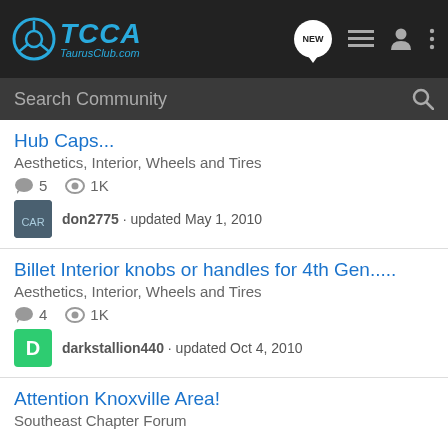TCCA TaurusClub.com
Search Community
Hub Caps...
Aesthetics, Interior, Wheels and Tires
5 comments  1K views
don2775 · updated May 1, 2010
Billet Interior knobs or handles for 4th Gen.....
Aesthetics, Interior, Wheels and Tires
4 comments  1K views
darkstallion440 · updated Oct 4, 2010
Attention Knoxville Area!
Southeast Chapter Forum